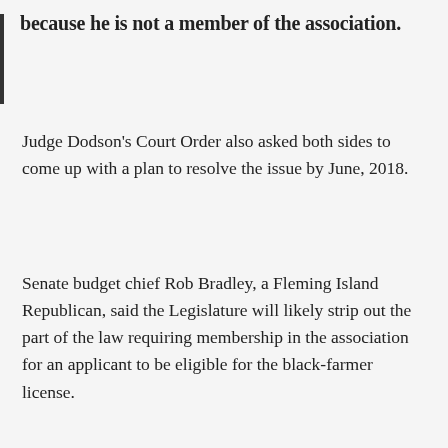because he is not a member of the association.
Judge Dodson's Court Order also asked both sides to come up with a plan to resolve the issue by June, 2018.
Senate budget chief Rob Bradley, a Fleming Island Republican, said the Legislature will likely strip out the part of the law requiring membership in the association for an applicant to be eligible for the black-farmer license.
Dori K. Stibolt is a West Palm Beach, Florida based partner with Fox Rothschild LLP.  She focuses her practice on litigation and labor and employment issues and has taken a special interest in the cannabis business.  You can contact Dori at 561-